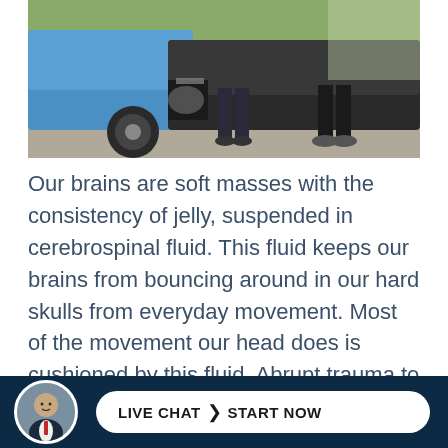[Figure (photo): Photo of two people standing near the rear of cars involved in a fender-bender accident, showing damaged rear bumper of a blue car on the left and a dark car on the right; people are visible from the waist down on a paved surface with greenery in the background.]
Our brains are soft masses with the consistency of jelly, suspended in cerebrospinal fluid. This fluid keeps our brains from bouncing around in our hard skulls from everyday movement. Most of the movement our head does is cushioned by this fluid. Abrupt trauma to the head can cause the brain to move around inside the skull, causing it to strike and bounce against